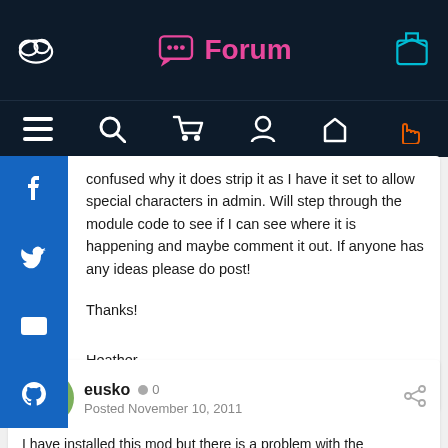Forum
confused why it does strip it as I have it set to allow special characters in admin. Will step through the module code to see if I can see where it is happening and maybe comment it out. If anyone has any ideas please do post!

Thanks!

Heather
eusko · 0 · Posted November 10, 2011

I have installed this mod but there is a problem with the 'HeaderTags SEO V 3.2.6'. If I turn on the Seo URL 5, the title is the